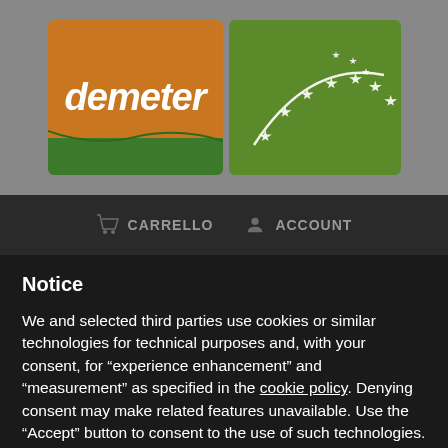[Figure (logo): Demeter certification logo (orange background with white italic text 'demeter' and green wave/stripe at bottom) alongside EU Organic certification logo (green background with white stars in arc pattern)]
[Figure (screenshot): Website navigation bar showing shopping cart icon with 'CARRELLO' text and user account icon with 'ACCOUNT' text on dark background]
Notice
We and selected third parties use cookies or similar technologies for technical purposes and, with your consent, for “experience enhancement” and “measurement” as specified in the cookie policy. Denying consent may make related features unavailable. Use the “Accept” button to consent to the use of such technologies. Use the “Reject” button to continue without accepting.
Reject
Accept
Learn more and customise